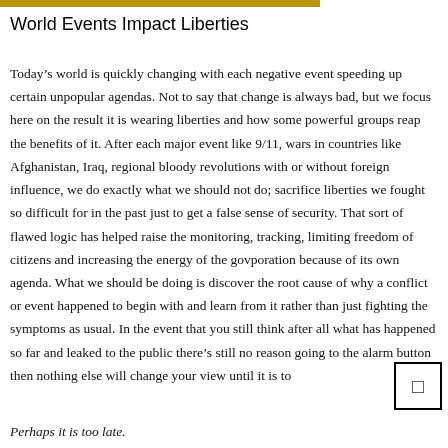World Events Impact Liberties
Today’s world is quickly changing with each negative event speeding up certain unpopular agendas. Not to say that change is always bad, but we focus here on the result it is wearing liberties and how some powerful groups reap the benefits of it. After each major event like 9/11, wars in countries like Afghanistan, Iraq, regional bloody revolutions with or without foreign influence, we do exactly what we should not do; sacrifice liberties we fought so difficult for in the past just to get a false sense of security. That sort of flawed logic has helped raise the monitoring, tracking, limiting freedom of citizens and increasing the energy of the govporation because of its own agenda. What we should be doing is discover the root cause of why a conflict or event happened to begin with and learn from it rather than just fighting the symptoms as usual. In the event that you still think after all what has happened so far and leaked to the public there’s still no reason going to the alarm button then nothing else will change your view until it is to
Perhaps it is too late.